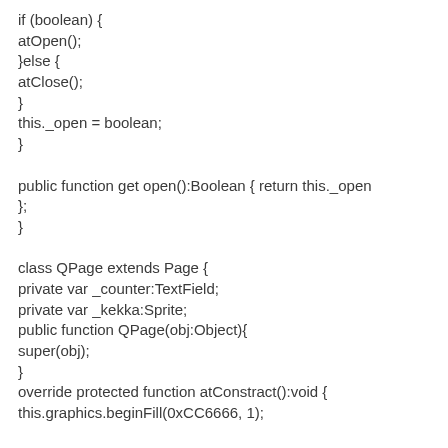if (boolean) {
atOpen();
}else {
atClose();
}
this._open = boolean;
}

public function get open():Boolean { return this._open
};
}

class QPage extends Page {
private var _counter:TextField;
private var _kekka:Sprite;
public function QPage(obj:Object){
super(obj);
}
override protected function atConstract():void {
this.graphics.beginFill(0xCC6666, 1);